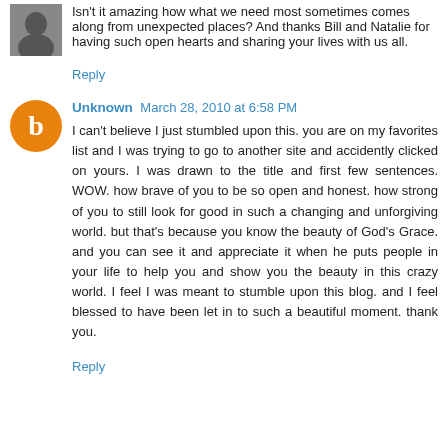Isn't it amazing how what we need most sometimes comes along from unexpected places? And thanks Bill and Natalie for having such open hearts and sharing your lives with us all.
Reply
Unknown March 28, 2010 at 6:58 PM
I can't believe I just stumbled upon this. you are on my favorites list and I was trying to go to another site and accidently clicked on yours. I was drawn to the title and first few sentences. WOW. how brave of you to be so open and honest. how strong of you to still look for good in such a changing and unforgiving world. but that's because you know the beauty of God's Grace. and you can see it and appreciate it when he puts people in your life to help you and show you the beauty in this crazy world. I feel I was meant to stumble upon this blog. and I feel blessed to have been let in to such a beautiful moment. thank you.
Reply